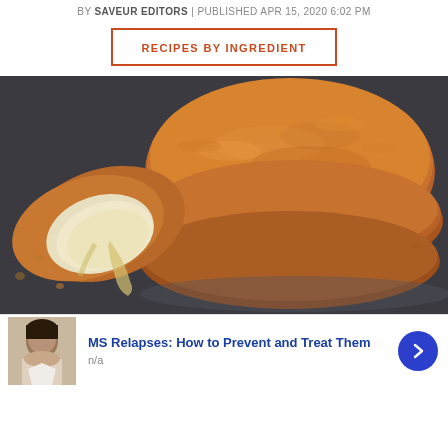BY SAVEUR EDITORS | PUBLISHED APR 15, 2020 6:02 PM
RECIPES BY INGREDIENT
[Figure (photo): Golden-brown fried cheese patties stacked on a dark plate, one split open revealing melted white cheese interior]
MS Relapses: How to Prevent and Treat Them
n/a